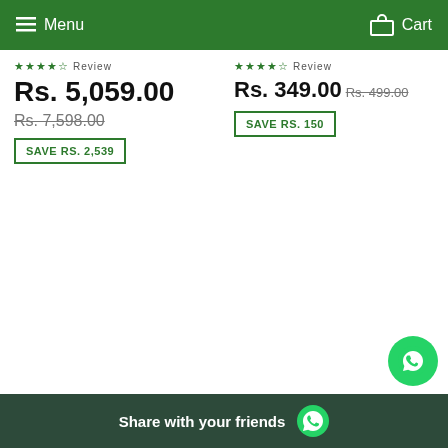Menu   Cart
★★★★☆ (Review)
Rs. 5,059.00
Rs. 7,598.00
SAVE RS. 2,539
★★★★☆ (Review)
Rs. 349.00  Rs. 499.00
SAVE RS. 150
Share with your friends